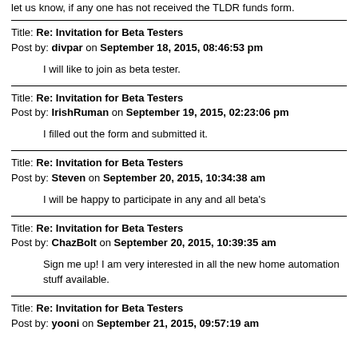let us know, if any one has not received the TLDR funds form.
Title: Re: Invitation for Beta Testers
Post by: divpar on September 18, 2015, 08:46:53 pm
I will like to join as beta tester.
Title: Re: Invitation for Beta Testers
Post by: IrishRuman on September 19, 2015, 02:23:06 pm
I filled out the form and submitted it.
Title: Re: Invitation for Beta Testers
Post by: Steven on September 20, 2015, 10:34:38 am
I will be happy to participate in any and all beta's
Title: Re: Invitation for Beta Testers
Post by: ChazBolt on September 20, 2015, 10:39:35 am
Sign me up! I am very interested in all the new home automation stuff available.
Title: Re: Invitation for Beta Testers
Post by: yooni on September 21, 2015, 09:57:19 am